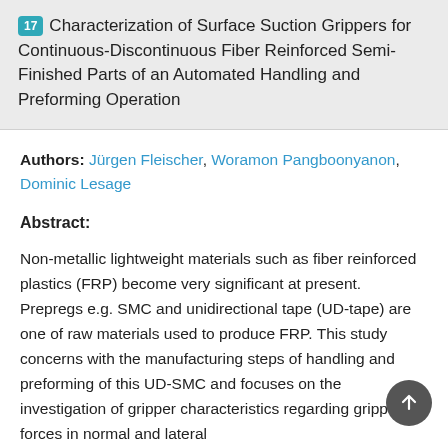17 Characterization of Surface Suction Grippers for Continuous-Discontinuous Fiber Reinforced Semi-Finished Parts of an Automated Handling and Preforming Operation
Authors: Jürgen Fleischer, Woramon Pangboonyanon, Dominic Lesage
Abstract:
Non-metallic lightweight materials such as fiber reinforced plastics (FRP) become very significant at present. Prepregs e.g. SMC and unidirectional tape (UD-tape) are one of raw materials used to produce FRP. This study concerns with the manufacturing steps of handling and preforming of this UD-SMC and focuses on the investigation of gripper characteristics regarding gripping forces in normal and lateral